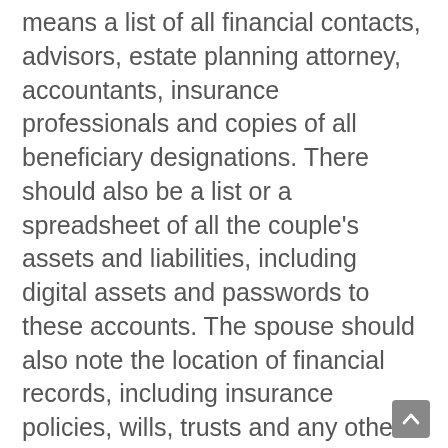means a list of all financial contacts, advisors, estate planning attorney, accountants, insurance professionals and copies of all beneficiary designations. There should also be a list or a spreadsheet of all the couple's assets and liabilities, including digital assets and passwords to these accounts. The spouse should also note the location of financial records, including insurance policies, wills, trusts and any other critical legal documents.
Each partner must have access to checking and cash independently of the other, and the spouses need to review together how assets and accounts are titled.
It is especially important for both spouses to be on the deed to their home with right of survivorship, so that the surviving spouse can easily prove that they are the sole owner of the home after the spouse dies.